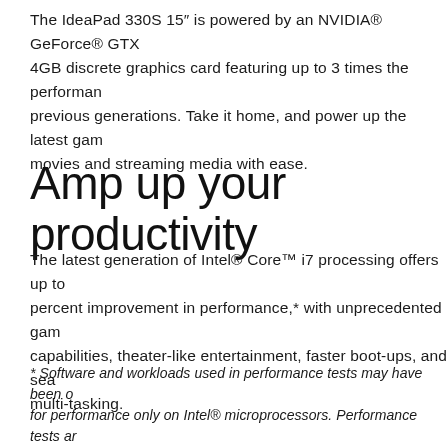The IdeaPad 330S 15″ is powered by an NVIDIA® GeForce® GTX 4GB discrete graphics card featuring up to 3 times the performance of previous generations. Take it home, and power up the latest games, movies and streaming media with ease.
Amp up your productivity
The latest generation of Intel® Core™ i7 processing offers up to percent improvement in performance,* with unprecedented gaming capabilities, theater-like entertainment, faster boot-ups, and seamless multi-tasking.
* Software and workloads used in performance tests may have been optimized for performance only on Intel® microprocessors. Performance tests are measured using specific computer systems, components, software, operations and functions. Any change to any of those factors may cause the results to vary.